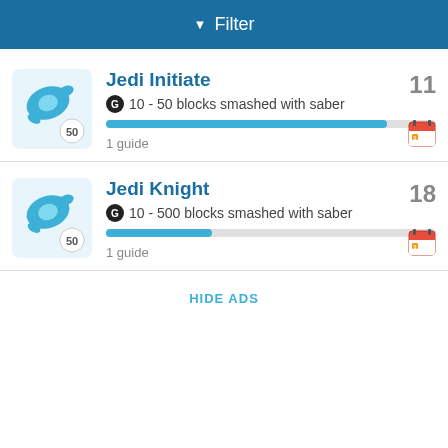▼ Filter
Jedi Initiate
G 10 - 50 blocks smashed with saber
1 guide
Jedi Knight
G 10 - 500 blocks smashed with saber
1 guide
HIDE ADS